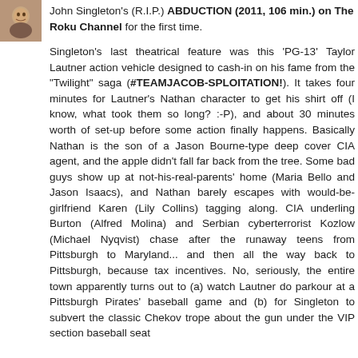[Figure (photo): Small square avatar/profile photo of a person, appears to be a headshot]
John Singleton's (R.I.P.) ABDUCTION (2011, 106 min.) on The Roku Channel for the first time.
Singleton's last theatrical feature was this 'PG-13' Taylor Lautner action vehicle designed to cash-in on his fame from the "Twilight" saga (#TEAMJACOB-SPLOITATION!). It takes four minutes for Lautner's Nathan character to get his shirt off (I know, what took them so long? :-P), and about 30 minutes worth of set-up before some action finally happens. Basically Nathan is the son of a Jason Bourne-type deep cover CIA agent, and the apple didn't fall far back from the tree. Some bad guys show up at not-his-real-parents' home (Maria Bello and Jason Isaacs), and Nathan barely escapes with would-be-girlfriend Karen (Lily Collins) tagging along. CIA underling Burton (Alfred Molina) and Serbian cyberterrorist Kozlow (Michael Nyqvist) chase after the runaway teens from Pittsburgh to Maryland... and then all the way back to Pittsburgh, because tax incentives. No, seriously, the entire town apparently turns out to (a) watch Lautner do parkour at a Pittsburgh Pirates' baseball game and (b) for Singleton to subvert the classic Chekov trope about the gun under the VIP section baseball seat